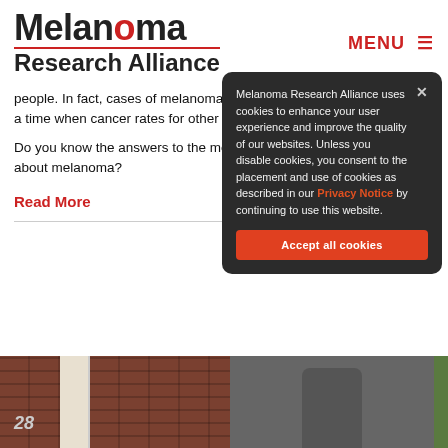[Figure (logo): Melanoma Research Alliance logo with red dot in the O and red underline beneath Melanoma]
MENU ≡
people. In fact, cases of melanoma have tripled in the last 30 years, at a time when cancer rates for other common cancers have declined.
Do you know the answers to the most common questions people ask about melanoma?
Read More
[Figure (photo): Photo of a brick building entrance with a white door frame and the number 28, and a person in a suit and tie visible in the right portion]
Melanoma Research Alliance uses cookies to enhance your user experience and improve the quality of our websites. Unless you disable cookies, you consent to the placement and use of cookies as described in our Privacy Notice by continuing to use this website.
Accept all cookies